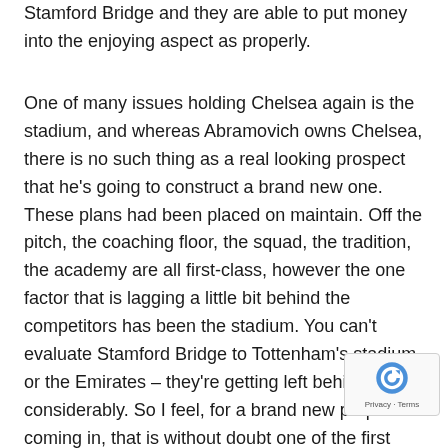Stamford Bridge and they are able to put money into the enjoying aspect as properly.
One of many issues holding Chelsea again is the stadium, and whereas Abramovich owns Chelsea, there is no such thing as a real looking prospect that he's going to construct a brand new one. These plans had been placed on maintain. Off the pitch, the coaching floor, the squad, the tradition, the academy are all first-class, however the one factor that is lagging a little bit behind the competitors has been the stadium. You can't evaluate Stamford Bridge to Tottenham's stadium or the Emirates – they're getting left behind considerably. So I feel, for a brand new proprietor coming in, that is without doubt one of the first issues they might want to have a look at. However let's be trustworthy – to redevelop Stamford Bridge goes to value one other £1 order that's one thing else a brand new proprietor has to